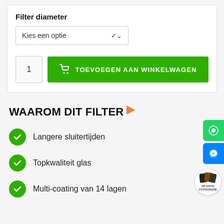Filter diameter
Kies een optie
1
TOEVOEGEN AAN WINKELWAGEN
WAAROM DIT FILTER
Langere sluitertijden
Topkwaliteit glas
Multi-coating van 14 lagen